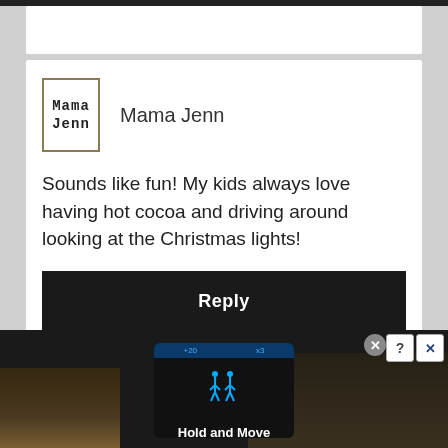Mama Jenn
Sounds like fun! My kids always love having hot cocoa and driving around looking at the Christmas lights!
Reply
[Figure (screenshot): Advertisement banner showing 'Hold and Move' app/game with blue neon icons on a dark screen, trees in background, with close and help buttons]